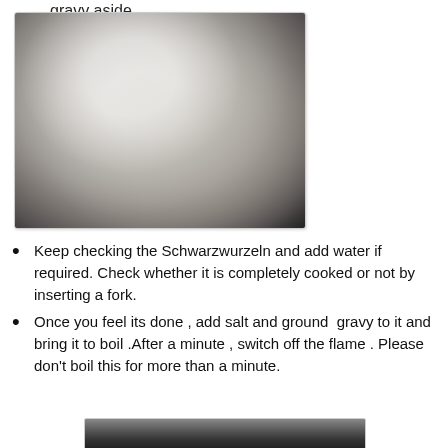gravy aside.
[Figure (photo): Top-down view of a transparent glass bowl containing a whitish, powdery or flour-mixed substance with some darker speckles, sitting on a countertop with food visible in the background.]
Keep checking the Schwarzwurzeln and add water if required. Check whether it is completely cooked or not by inserting a fork.
Once you feel its done , add salt and ground  gravy to it and bring it to boil .After a minute , switch off the flame . Please don't boil this for more than a minute.
[Figure (photo): Partial view of a dish or pan with food, visible at the bottom of the page.]